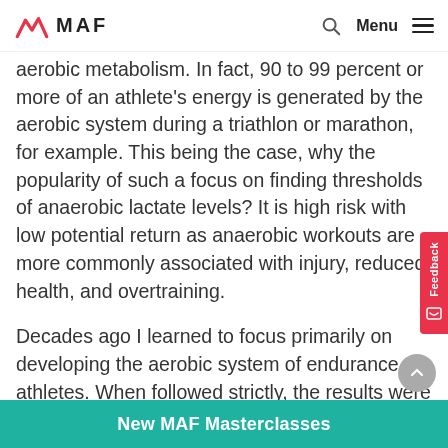MAF
aerobic metabolism. In fact, 90 to 99 percent or more of an athlete's energy is generated by the aerobic system during a triathlon or marathon, for example. This being the case, why the popularity of such a focus on finding thresholds of anaerobic lactate levels? It is high risk with low potential return as anaerobic workouts are more commonly associated with injury, reduced health, and overtraining.
Decades ago I learned to focus primarily on developing the aerobic system of endurance athletes. When followed strictly, the results were better performance, increased physical stability, to eliminate and
New MAF Masterclasses